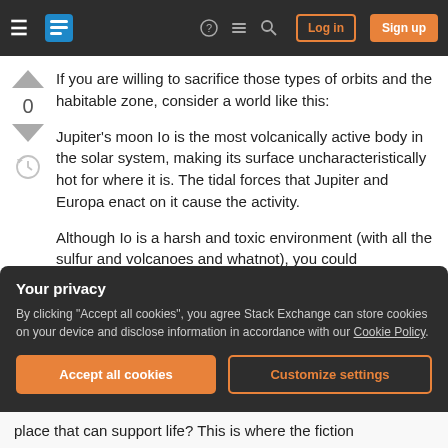Stack Exchange navigation bar with hamburger menu, logo, help, chat, search icons, Log in and Sign up buttons
If you are willing to sacrifice those types of orbits and the habitable zone, consider a world like this:
Jupiter's moon Io is the most volcanically active body in the solar system, making its surface uncharacteristically hot for where it is. The tidal forces that Jupiter and Europa enact on it cause the activity.
Although Io is a harsh and toxic environment (with all the sulfur and volcanoes and whatnot), you could
Your privacy
By clicking "Accept all cookies", you agree Stack Exchange can store cookies on your device and disclose information in accordance with our Cookie Policy.
Accept all cookies   Customize settings
place that can support life? This is where the fiction